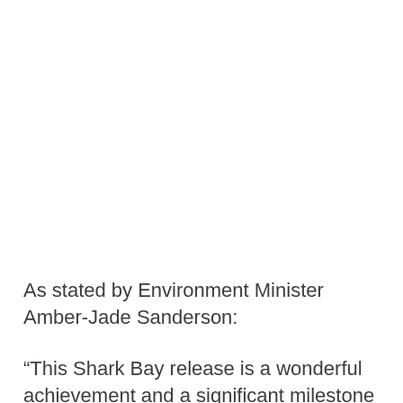As stated by Environment Minister Amber-Jade Sanderson:
“This Shark Bay release is a wonderful achievement and a significant milestone in